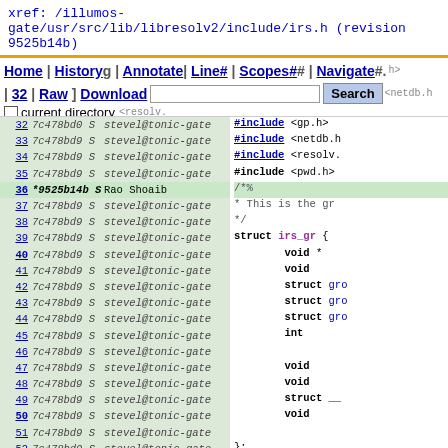xref: /illumos-gate/usr/src/lib/libresolv2/include/irs.h (revision 9525b14b)
Home | History| Annotate | Line# | Scopes# | Navigate# | Raw | Download | [search box] Search | current directory
| line | revision | S | author | code |
| --- | --- | --- | --- | --- |
| 32 | 7c478bd0 S | stevel@tonic-gate | #include <gp.h> |
| 33 | 7c478bd9 S | stevel@tonic-gate | #include <netdb.h> |
| 34 | 7c478bd9 S | stevel@tonic-gate | #include <resolv. |
| 35 | 7c478bd9 S | stevel@tonic-gate | #include <pwd.h> |
| 36 | *9525b14b S | Rao Shoaib | /*% |
| 37 | 7c478bd9 S | stevel@tonic-gate |  * This is the gr |
| 38 | 7c478bd9 S | stevel@tonic-gate |  */ |
| 39 | 7c478bd9 S | stevel@tonic-gate | struct irs_gr { |
| 40 | 7c478bd9 S | stevel@tonic-gate |         void * |
| 41 | 7c478bd9 S | stevel@tonic-gate |         void |
| 42 | 7c478bd9 S | stevel@tonic-gate |         struct gro |
| 43 | 7c478bd9 S | stevel@tonic-gate |         struct gro |
| 44 | 7c478bd9 S | stevel@tonic-gate |         struct gro |
| 45 | 7c478bd9 S | stevel@tonic-gate |         int |
| 46 | 7c478bd9 S | stevel@tonic-gate |  |
| 47 | 7c478bd9 S | stevel@tonic-gate |         void |
| 48 | 7c478bd9 S | stevel@tonic-gate |         void |
| 49 | 7c478bd9 S | stevel@tonic-gate |         struct __ |
| 50 | 7c478bd9 S | stevel@tonic-gate |         void |
| 51 | 7c478bd9 S | stevel@tonic-gate |  |
| 52 | 7c478bd9 S | stevel@tonic-gate | }; |
| 53 | 7c478bd9 S | stevel@tonic-gate |  |
| 54 | *9525b14b S | Rao Shoaib | /*% |
| 55 | 7c478bd9 S | stevel@tonic-gate |  * This is the pa |